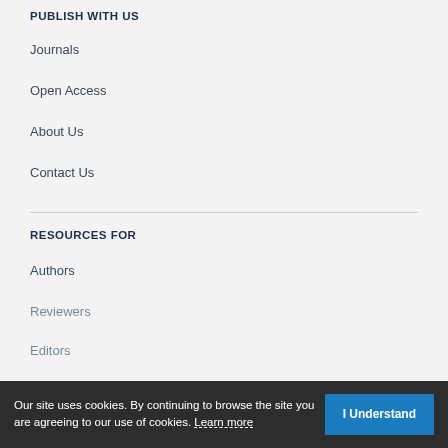PUBLISH WITH US
Journals
Open Access
About Us
Contact Us
RESOURCES FOR
Authors
Reviewers
Editors
Subscribers
Our site uses cookies. By continuing to browse the site you are agreeing to our use of cookies. Learn more
I Understand